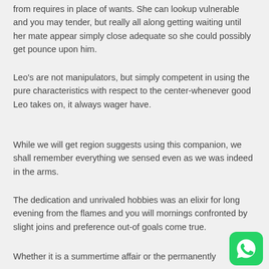from requires in place of wants. She can lookup vulnerable and you may tender, but really all along getting waiting until her mate appear simply close adequate so she could possibly get pounce upon him.
Leo's are not manipulators, but simply competent in using the pure characteristics with respect to the center-whenever good Leo takes on, it always wager have.
While we will get region suggests using this companion, we shall remember everything we sensed even as we was indeed in the arms.
The dedication and unrivaled hobbies was an elixir for long evening from the flames and you will mornings confronted by slight joins and preference out-of goals come true.
Whether it is a summertime affair or the permanently of like, he could be determined to help you always get
[Figure (logo): WhatsApp logo icon — green rounded square with white phone handset]